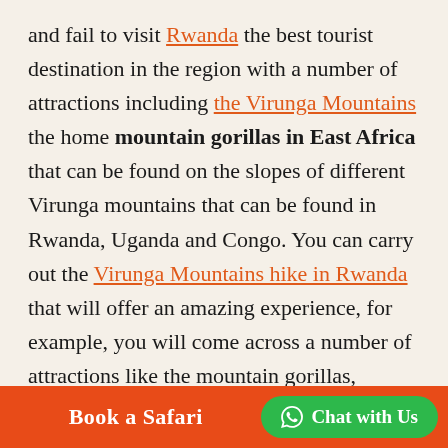and fail to visit Rwanda the best tourist destination in the region with a number of attractions including the Virunga Mountains the home mountain gorillas in East Africa that can be found on the slopes of different Virunga mountains that can be found in Rwanda, Uganda and Congo. You can carry out the Virunga Mountains hike in Rwanda that will offer an amazing experience, for example, you will come across a number of attractions like the mountain gorillas, golden monkeys in the bamboo trees of the different Virunga mountains in Rwanda. At the mountains peaks, you will have exceptional views, for example, you will be able to see lakes like lake
Book a Safari   Chat with Us